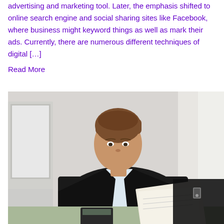advertising and marketing tool. Later, the emphasis shifted to online search engine and social sharing sites like Facebook, where business might keyword things as well as mark their ads. Currently, there are numerous different techniques of digital […]
Read More
[Figure (photo): A businesswoman in a black suit sitting at a desk, leaning forward with her hand near her face in a thoughtful pose, looking at documents. A computer monitor is visible on the left. A calculator and papers are on the desk.]